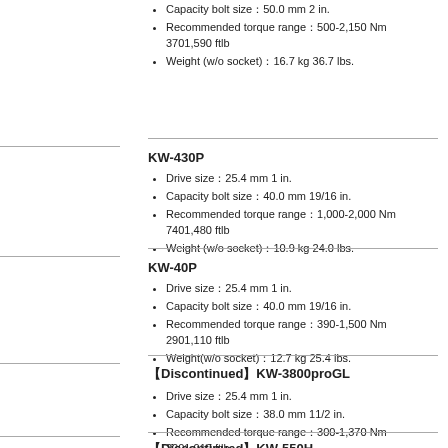Capacity bolt size：50.0 mm 2 in.
Recommended torque range：500-2,150 Nm 3701,590 ftlb
Weight (w/o socket)：16.7 kg 36.7 lbs.
KW-430P
Drive size：25.4 mm 1 in.
Capacity bolt size：40.0 mm 19/16 in.
Recommended torque range：1,000-2,000 Nm 7401,480 ftlb
Weight (w/o socket)：10.9 kg 24.0 lbs.
KW-40P
Drive size：25.4 mm 1 in.
Capacity bolt size：40.0 mm 19/16 in.
Recommended torque range：390-1,500 Nm 2901,110 ftlb
Weight(w/o socket)：12.7 kg 25.4 lbs.
【Discontinued】KW-3800proGL
Drive size：25.4 mm 1 in.
Capacity bolt size：38.0 mm 11/2 in.
Recommended torque range：300-1,370 Nm 2201,010 ftlb
Weight(w/o socket)：7.1 kg 15.6 lbs.
【Discontinued】KW-550H